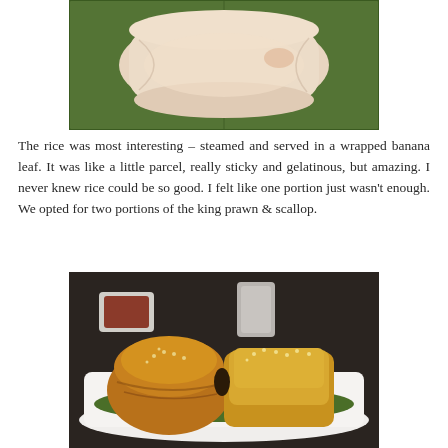[Figure (photo): A steamed rice parcel wrapped in a green banana leaf, placed on a banana leaf background. The rice is white and gelatinous-looking.]
The rice was most interesting – steamed and served in a wrapped banana leaf. It was like a little parcel, really sticky and gelatinous, but amazing. I never knew rice could be so good. I felt like one portion just wasn’t enough. We opted for two portions of the king prawn & scallop.
[Figure (photo): Golden-brown baked pastry parcels topped with sesame seeds, served on a white rectangular plate lined with a green banana leaf. A small bowl of dipping sauce is visible in the background.]